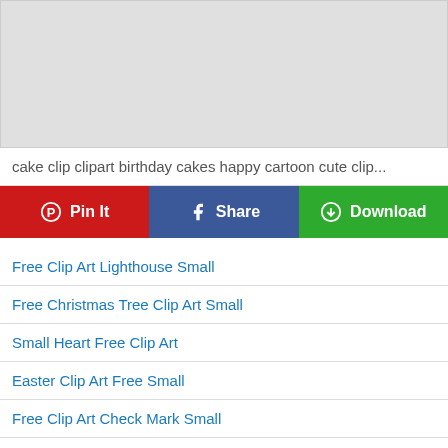[Figure (photo): Gray placeholder image area for clip art content]
cake clip clipart birthday cakes happy cartoon cute clip...
Pin It | Share | Download
Free Clip Art Lighthouse Small
Free Christmas Tree Clip Art Small
Small Heart Free Clip Art
Easter Clip Art Free Small
Free Clip Art Check Mark Small
Small Pumpkin Clip Art Free